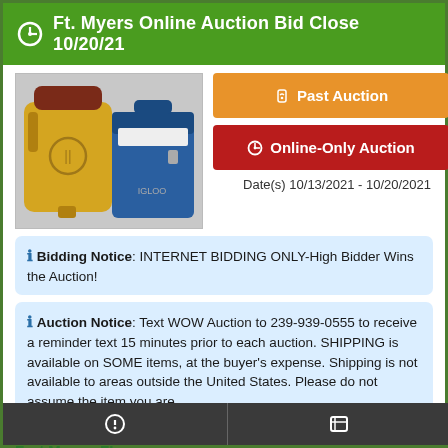Ft. Myers Online Auction Bid Close 10/20/21
[Figure (photo): Photo of a yellow water cooler jug and a blue cooler box side by side]
Past Auction
Online-Only Auction
Date(s) 10/13/2021 - 10/20/2021
Bidding Notice: INTERNET BIDDING ONLY-High Bidder Wins the Auction!
Auction Notice: Text WOW Auction to 239-939-0555 to receive a reminder text 15 minutes prior to each auction. SHIPPING is available on SOME items, at the buyer's expense. Shipping is not available to areas outside the United States. Please do not assume the item you are
LOCATION
Fort Myers, FL